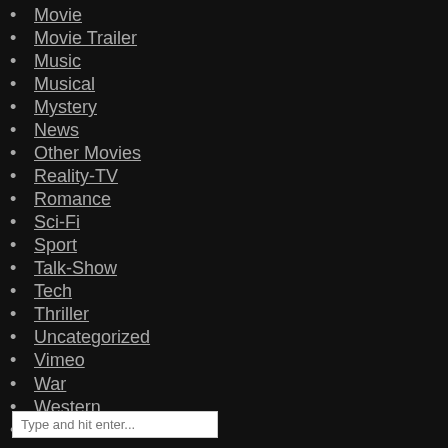Movie
Movie Trailer
Music
Musical
Mystery
News
Other Movies
Reality-TV
Romance
Sci-Fi
Sport
Talk-Show
Tech
Thriller
Uncategorized
Vimeo
War
Western
Youtube